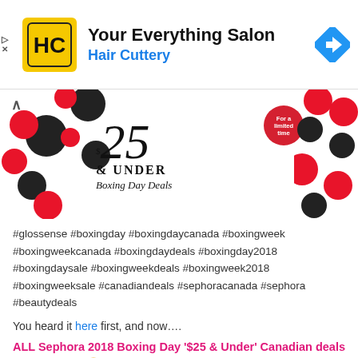[Figure (logo): Hair Cuttery advertisement banner with HC logo in yellow square, text 'Your Everything Salon' and 'Hair Cuttery' in blue, navigation icon on right]
[Figure (infographic): Sephora Boxing Day promotional image showing '$25 & Under Boxing Day Deals' text with lipstick products and a red circular badge saying 'For a limited time']
#glossense #boxingday #boxingdaycanada #boxingweek #boxingweekcanada #boxingdaydeals #boxingday2018 #boxingdaysale #boxingweekdeals #boxingweek2018 #boxingweeksale #canadiandeals #sephoracanada #sephora #beautydeals
You heard it here first, and now….
ALL Sephora 2018 Boxing Day '$25 & Under' Canadian deals are now live! 😀